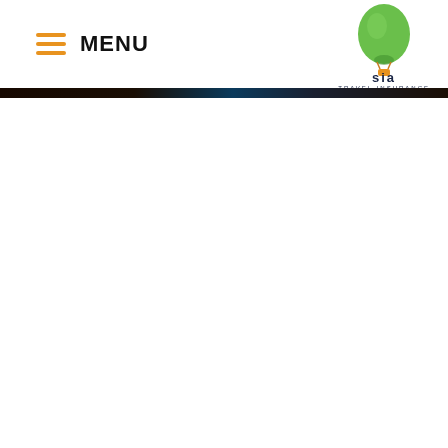MENU — SIA Travel Insurance logo
[Figure (logo): SIA Travel Insurance logo: green hot air balloon above orange basket with 'sia' text in dark navy and 'TRAVEL INSURANCE' subtitle in small caps]